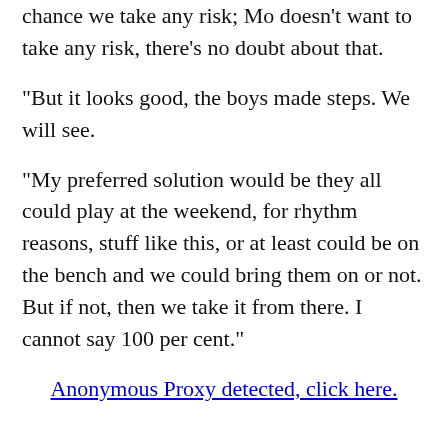chance we take any risk; Mo doesn't want to take any risk, there's no doubt about that.
“But it looks good, the boys made steps. We will see.
“My preferred solution would be they all could play at the weekend, for rhythm reasons, stuff like this, or at least could be on the bench and we could bring them on or not. But if not, then we take it from there. I cannot say 100 per cent.”
Anonymous Proxy detected, click here.